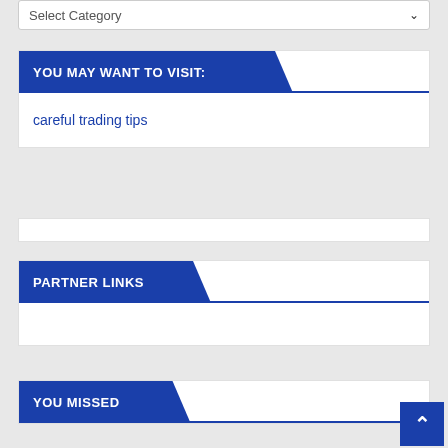[Figure (screenshot): Select Category dropdown input box at top of page]
YOU MAY WANT TO VISIT:
careful trading tips
PARTNER LINKS
YOU MISSED